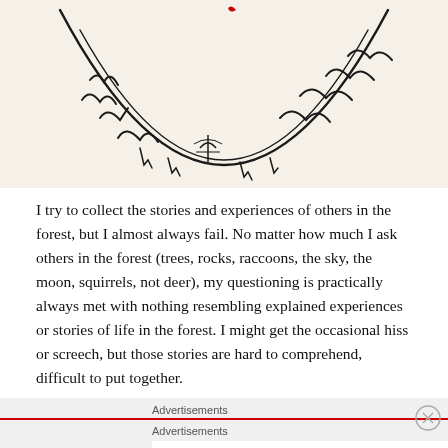[Figure (illustration): A partial sketch/drawing showing what appears to be a crescent or arc shape with handwritten script/calligraphy-like marks and small drawings inside, on a cream/off-white background. A small red mark is visible at the top center.]
I try to collect the stories and experiences of others in the forest, but I almost always fail. No matter how much I ask others in the forest (trees, rocks, raccoons, the sky, the moon, squirrels, not deer), my questioning is practically always met with nothing resembling explained experiences or stories of life in the forest. I might get the occasional hiss or screech, but those stories are hard to comprehend, difficult to put together.
Advertisements
Advertisements
AUT⊙MATTIC
Build a better web and a better world.